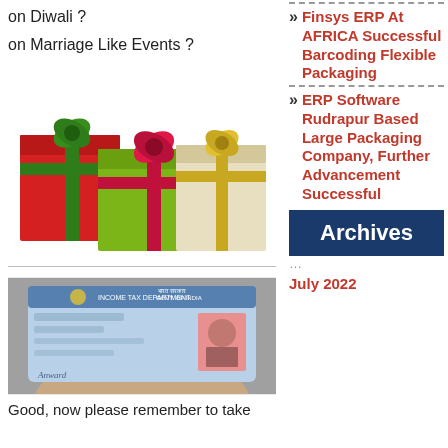on Diwali ?
on Marriage Like Events ?
[Figure (photo): Three colorful gift boxes with ribbons — red, green, and cream/gold — stacked together.]
[Figure (photo): A hand holding an Indian PAN card (Income Tax Department, Govt of India) with a photo ID visible.]
Good, now please remember to take
Finsys ERP At AFRICA Successful Barcoding Flexible Packaging
ERP Software Rudrapur Based Large Packaging Company, Further Advancement Successful
Archives
July 2022